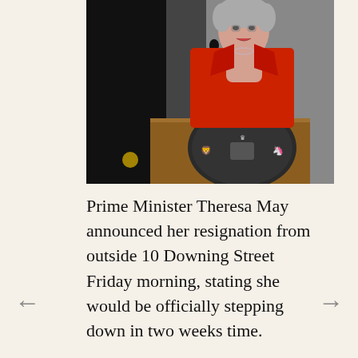[Figure (photo): Prime Minister Theresa May speaking at a podium with the UK royal coat of arms, wearing a red jacket, photographed outside 10 Downing Street with microphones in front of her.]
Prime Minister Theresa May announced her resignation from outside 10 Downing Street Friday morning, stating she would be officially stepping down in two weeks time.